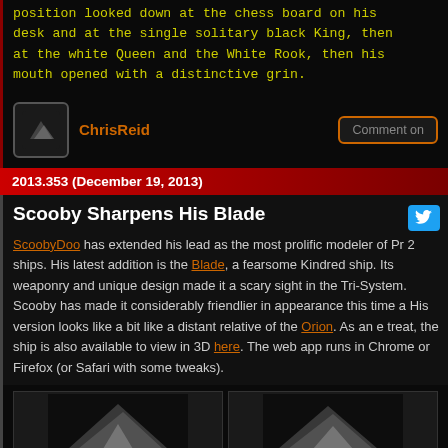position looked down at the chess board on his desk and at the single solitary black King, then at the white Queen and the White Rook, then his mouth opened with a distinctive grin.
ChrisReid
Comment on
2013.353 (December 19, 2013)
Scooby Sharpens His Blade
ScoobyDoo has extended his lead as the most prolific modeler of Pr 2 ships. His latest addition is the Blade, a fearsome Kindred ship. Its weaponry and unique design made it a scary sight in the Tri-System. Scooby has made it considerably friendlier in appearance this time a His version looks like a bit like a distant relative of the Orion. As an e treat, the ship is also available to view in 3D here. The web app runs in Chrome or Firefox (or Safari with some tweaks).
[Figure (photo): Two spacecraft model images side by side at bottom of page]